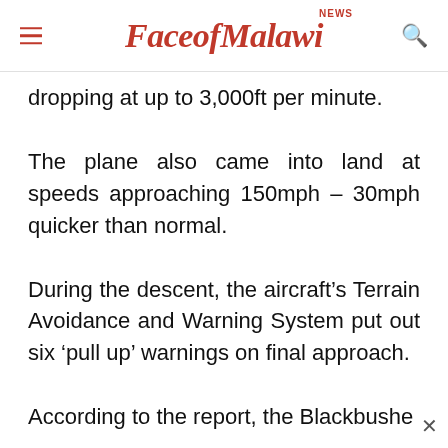FaceofMalawi NEWS
dropping at up to 3,000ft per minute.
The plane also came into land at speeds approaching 150mph – 30mph quicker than normal.
During the descent, the aircraft's Terrain Avoidance and Warning System put out six 'pull up' warnings on final approach.
According to the report, the Blackbushe